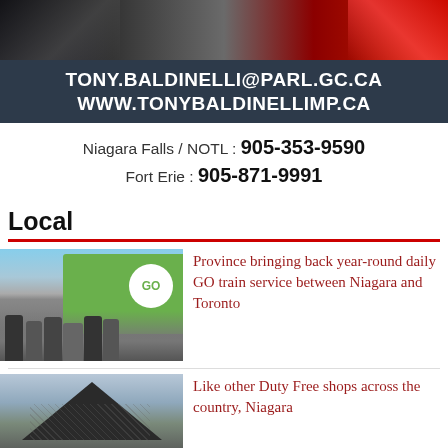[Figure (photo): Photo of Tony Baldinelli and Canadian flags at top of page]
TONY.BALDINELLI@PARL.GC.CA
WWW.TONYBALDINELLIMP.CA
Niagara Falls / NOTL: 905-353-9590
Fort Erie : 905-871-9991
Local
[Figure (photo): Group photo of politicians standing in front of a GO transit bus]
Province bringing back year-round daily GO train service between Niagara and Toronto
[Figure (photo): Photo of a building with a triangular roof structure, related to Duty Free shops]
Like other Duty Free shops across the country, Niagara